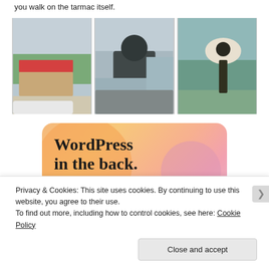you walk on the tarmac itself.
[Figure (photo): Three photos side by side: left shows an airport terminal building with green hills and a plane wing in foreground; center shows a man in dark Puma tracksuit standing at an airport observation deck with a plane visible; right shows a cutout statue/figure near a pond with hills in background.]
[Figure (screenshot): WordPress promotional banner with pastel orange and pink gradient background reading 'WordPress in the back.' in bold serif font]
Privacy & Cookies: This site uses cookies. By continuing to use this website, you agree to their use.
To find out more, including how to control cookies, see here: Cookie Policy
Close and accept